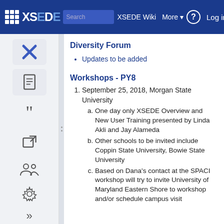XSEDE Wiki | Search | More | Log in
Diversity Forum
Updates to be added
Workshops - PY8
1. September 25, 2018, Morgan State University
a. One day only XSEDE Overview and New User Training presented by Linda Akli and Jay Alameda
b. Other schools to be invited include Coppin State University, Bowie State University
c. Based on Dana's contact at the SPACI workshop will try to invite University of Maryland Eastern Shore to workshop and/or schedule campus visit